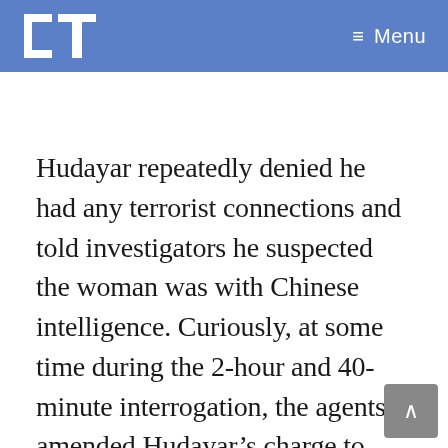LT Menu
Hudayar repeatedly denied he had any terrorist connections and told investigators he suspected the woman was with Chinese intelligence. Curiously, at some time during the 2-hour and 40-minute interrogation, the agents amended Hudayar’s charge to match the one for “Attempted Threats” on the MPD warrant.